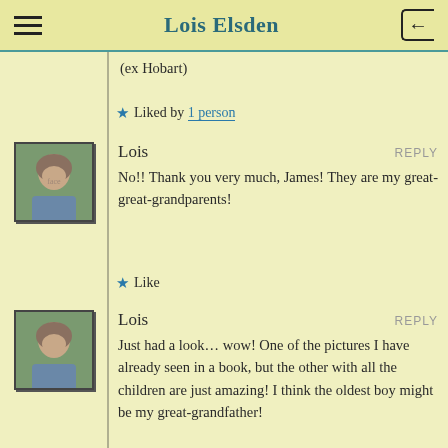Lois Elsden
(ex Hobart)
★ Liked by 1 person
Lois  REPLY
No!! Thank you very much, James! They are my great-great-grandparents!
★ Like
Lois  REPLY
Just had a look... wow! One of the pictures I have already seen in a book, but the other with all the children are just amazing! I think the oldest boy might be my great-grandfather!